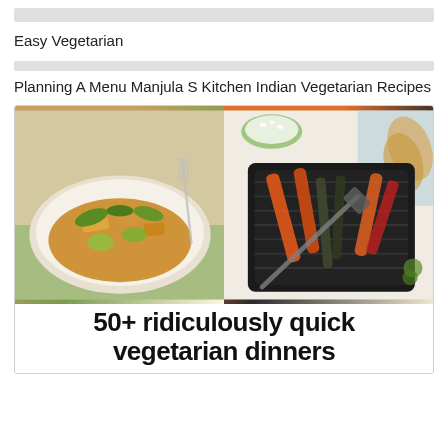Easy Vegetarian
Planning A Menu Manjula S Kitchen Indian Vegetarian Recipes
[Figure (photo): Two food photos side by side: left shows a bowl of vegetarian curry with halloumi, zucchini, and greens; right shows a grill pan with roasted vegetables including carrots, zucchini, and peppers. Below the photos is bold text reading '50+ ridiculously quick vegetarian dinners'.]